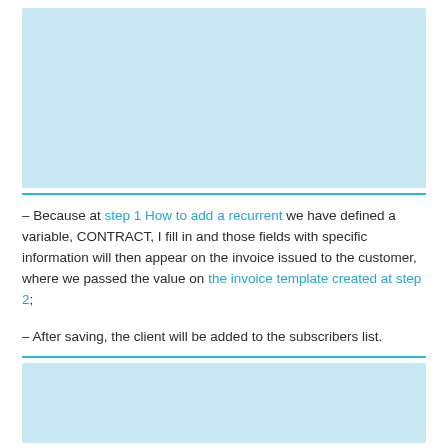[Figure (screenshot): Light blue screenshot/image block at the top of the page]
– Because at step 1 How to add a recurrent we have defined a variable, CONTRACT, I fill in and those fields with specific information will then appear on the invoice issued to the customer, where we passed the value on the invoice template created at step 2;
– After saving, the client will be added to the subscribers list.
[Figure (screenshot): Light blue screenshot/image block at the bottom of the page]